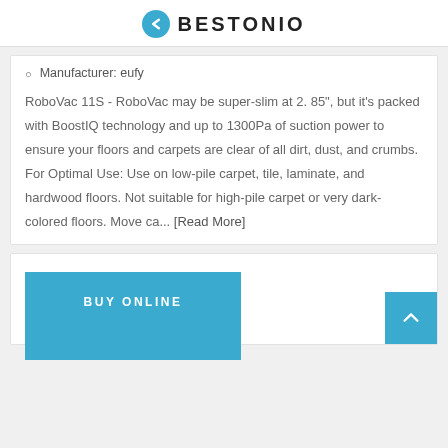BESTONIO
Manufacturer: eufy
RoboVac 11S - RoboVac may be super-slim at 2. 85", but it's packed with BoostIQ technology and up to 1300Pa of suction power to ensure your floors and carpets are clear of all dirt, dust, and crumbs. For Optimal Use: Use on low-pile carpet, tile, laminate, and hardwood floors. Not suitable for high-pile carpet or very dark-colored floors. Move ca... [Read More]
BUY ONLINE